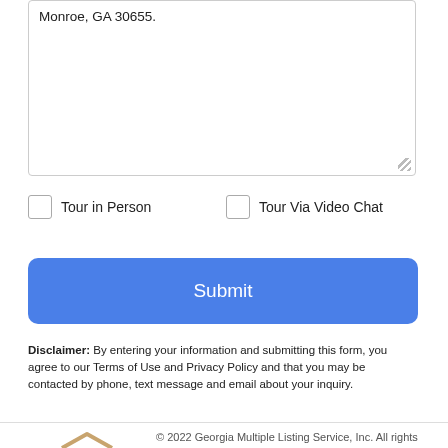Monroe, GA 30655.
Tour in Person
Tour Via Video Chat
Submit
Disclaimer: By entering your information and submitting this form, you agree to our Terms of Use and Privacy Policy and that you may be contacted by phone, text message and email about your inquiry.
[Figure (logo): GAMLS IDX logo — blue GAMLS text with house icon and IDX badge]
© 2022 Georgia Multiple Listing Service, Inc. All rights reserved. The data relating to real estate for sale or lease on this web
Take a Tour
Ask A Question